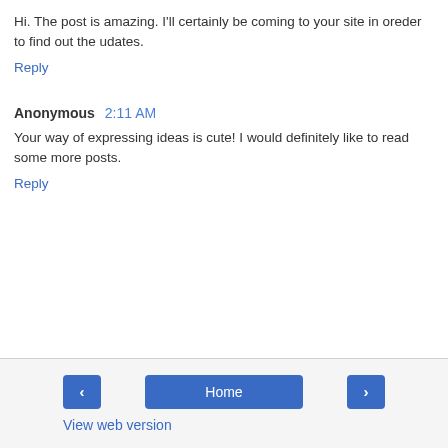Hi. The post is amazing. I'll certainly be coming to your site in oreder to find out the udates.
Reply
Anonymous 2:11 AM
Your way of expressing ideas is cute! I would definitely like to read some more posts.
Reply
< Home > View web version